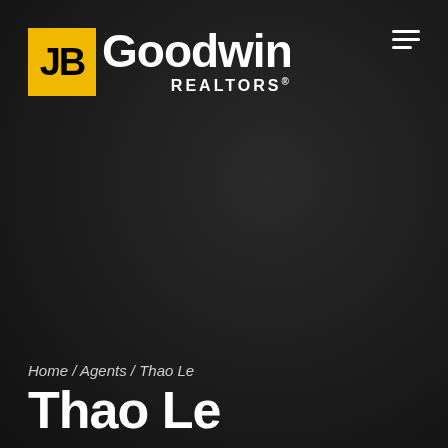[Figure (logo): JB Goodwin REALTORS logo - yellow square with JB in black, followed by Goodwin in white bold text, REALTORS in white capital letters below]
≡
Home / Agents / Thao Le
Thao Le